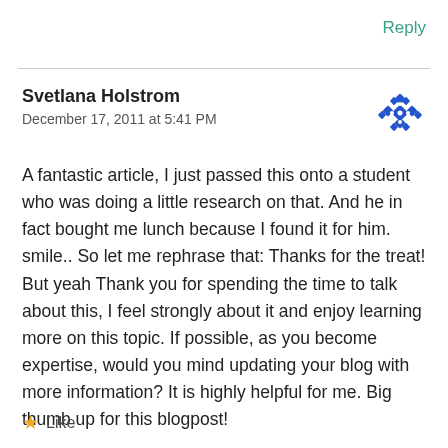Reply
Svetlana Holstrom
December 17, 2011 at 5:41 PM
[Figure (illustration): Blue decorative avatar/icon with a diamond/flower pattern in blue and white]
A fantastic article, I just passed this onto a student who was doing a little research on that. And he in fact bought me lunch because I found it for him. smile.. So let me rephrase that: Thanks for the treat! But yeah Thank you for spending the time to talk about this, I feel strongly about it and enjoy learning more on this topic. If possible, as you become expertise, would you mind updating your blog with more information? It is highly helpful for me. Big thumb up for this blogpost!
Like